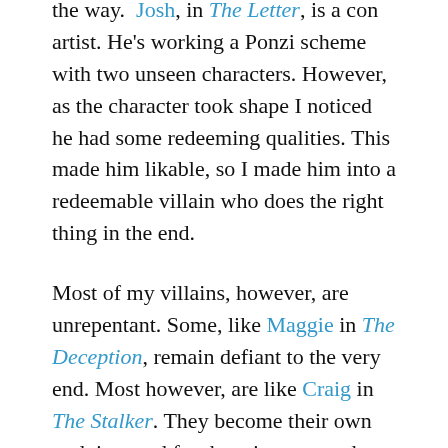the way. Josh, in The Letter, is a con artist. He's working a Ponzi scheme with two unseen characters. However, as the character took shape I noticed he had some redeeming qualities. This made him likable, so I made him into a redeemable villain who does the right thing in the end.
Most of my villains, however, are unrepentant. Some, like Maggie in The Deception, remain defiant to the very end. Most however, are like Craig in The Stalker. They become their own undoing, and for them it never ends well. They're unredeemable characters, and readers expect them to have their comeuppance. After all, karma is a bitch. Not only in fiction, but in